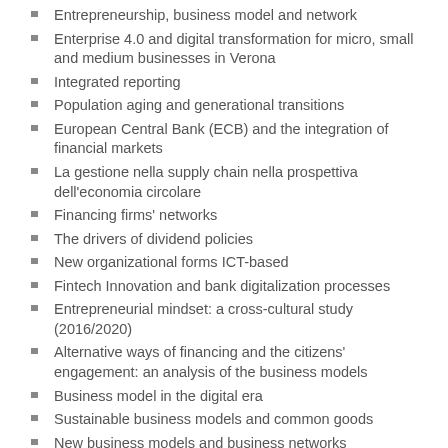Entrepreneurship, business model and network
Enterprise 4.0 and digital transformation for micro, small and medium businesses in Verona
Integrated reporting
Population aging and generational transitions
European Central Bank (ECB) and the integration of financial markets
La gestione nella supply chain nella prospettiva dell'economia circolare
Financing firms' networks
The drivers of dividend policies
New organizational forms ICT-based
Fintech Innovation and bank digitalization processes
Entrepreneurial mindset: a cross-cultural study (2016/2020)
Alternative ways of financing and the citizens' engagement: an analysis of the business models
Business model in the digital era
Sustainable business models and common goods
New business models and business networks